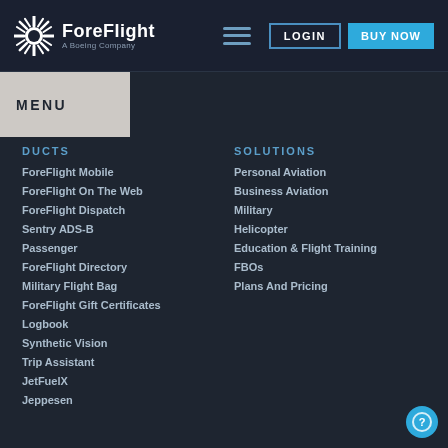[Figure (logo): ForeFlight logo with starburst icon and text 'ForeFlight A Boeing Company']
LOGIN | BUY NOW
MENU
PRODUCTS
ForeFlight Mobile
ForeFlight On The Web
ForeFlight Dispatch
Sentry ADS-B
Passenger
ForeFlight Directory
Military Flight Bag
ForeFlight Gift Certificates
Logbook
Synthetic Vision
Trip Assistant
JetFuelX
Jeppesen
SOLUTIONS
Personal Aviation
Business Aviation
Military
Helicopter
Education & Flight Training
FBOs
Plans And Pricing